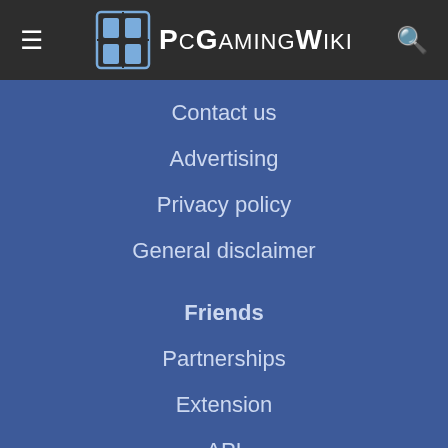PCGamingWiki
Contact us
Advertising
Privacy policy
General disclaimer
Friends
Partnerships
Extension
API
AppleGamingWiki
GOG.com
Gamesplanet
CheapShark